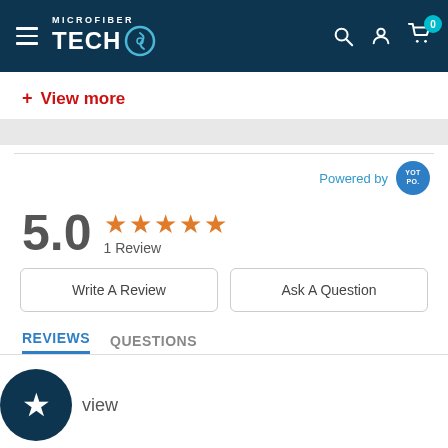MICROFIBER TECH — navigation bar with logo, search, account, and cart icons
+ View more
Powered by YOT PO.
5.0  ★★★★★  1 Review
Write A Review
Ask A Question
REVIEWS  QUESTIONS
⭐ view